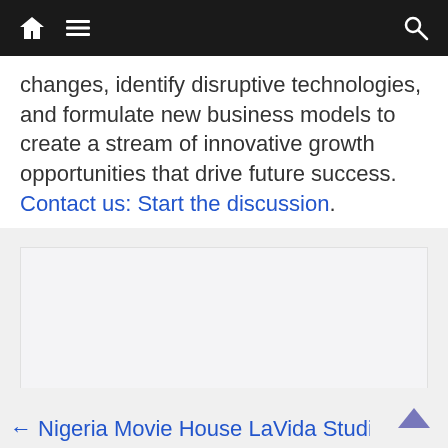[Navigation bar with home icon, menu icon, and search icon]
changes, identify disruptive technologies, and formulate new business models to create a stream of innovative growth opportunities that drive future success. Contact us: Start the discussion.
[Figure (other): Advertisement placeholder — light gray empty box]
← Nigeria Movie House LaVida Studios Gets